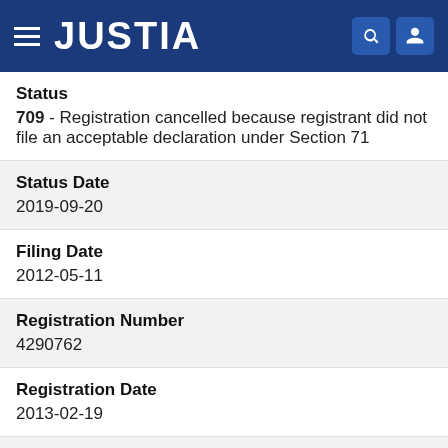JUSTIA
Status
709 - Registration cancelled because registrant did not file an acceptable declaration under Section 71
Status Date
2019-09-20
Filing Date
2012-05-11
Registration Number
4290762
Registration Date
2013-02-19
Mark Drawing